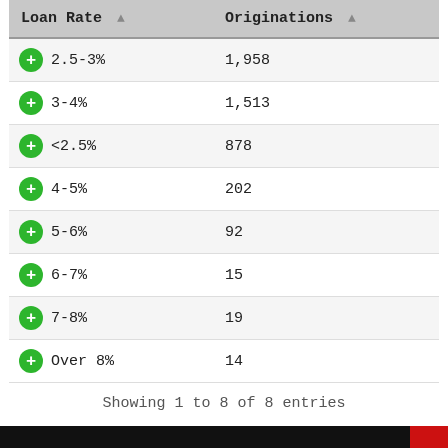| Loan Rate | Originations |
| --- | --- |
| 2.5-3% | 1,958 |
| 3-4% | 1,513 |
| <2.5% | 878 |
| 4-5% | 202 |
| 5-6% | 92 |
| 6-7% | 15 |
| 7-8% | 19 |
| Over 8% | 14 |
Showing 1 to 8 of 8 entries